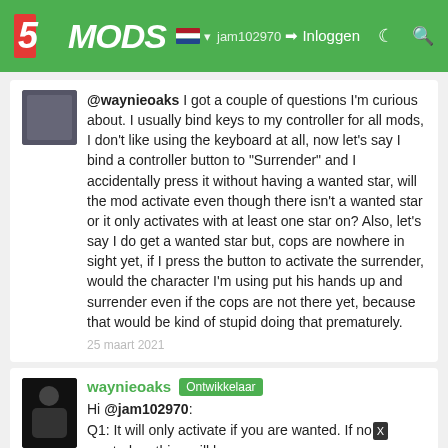5MODS | Inloggen
@waynieoaks I got a couple of questions I'm curious about. I usually bind keys to my controller for all mods, I don't like using the keyboard at all, now let's say I bind a controller button to "Surrender" and I accidentally press it without having a wanted star, will the mod activate even though there isn't a wanted star or it only activates with at least one star on? Also, let's say I do get a wanted star but, cops are nowhere in sight yet, if I press the button to activate the surrender, would the character I'm using put his hands up and surrender even if the cops are not there yet, because that would be kind of stupid doing that prematurely.
25 maart 2021
waynieoaks Ontwikkelaar
Hi @jam102970:
Q1: It will only activate if you are wanted. If not wanted, nothing will happen.

Q2: Unfortunately, yes it will put your hands up if the